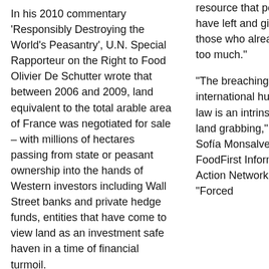In his 2010 commentary 'Responsibly Destroying the World's Peasantry', U.N. Special Rapporteur on the Right to Food Olivier De Schutter wrote that between 2006 and 2009, land equivalent to the total arable area of France was negotiated for sale – with millions of hectares passing from state or peasant ownership into the hands of Western investors including Wall Street banks and private hedge funds, entities that have come to view land as an investment safe haven in a time of financial turmoil.
resource that poor people have left and giving it those who already have too much."
"The breaching of international human rights law is an intrinsic part of land grabbing," stated Sofía Monsalve from FoodFirst Information and Action Network (FIAN). "Forced